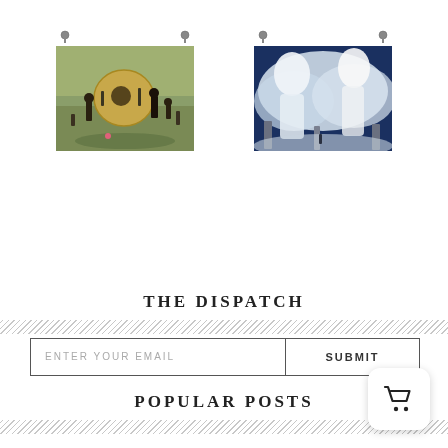[Figure (illustration): Two fantasy/surreal art posters hanging on a wall. Left poster shows a large round object surrounded by dark robed figures in a painted landscape style. Right poster shows large ghostly white figures looming over a misty landscape with standing stones. Each poster has small metal pin/clip fixtures at the top.]
THE DISPATCH
[Figure (infographic): Email subscription form with two fields: 'ENTER YOUR EMAIL' placeholder text on the left, and 'SUBMIT' button text on the right, separated by a vertical border, all within a rectangular border.]
POPULAR POSTS
[Figure (illustration): Shopping cart icon button in white rounded rectangle with shadow, positioned at bottom right corner.]